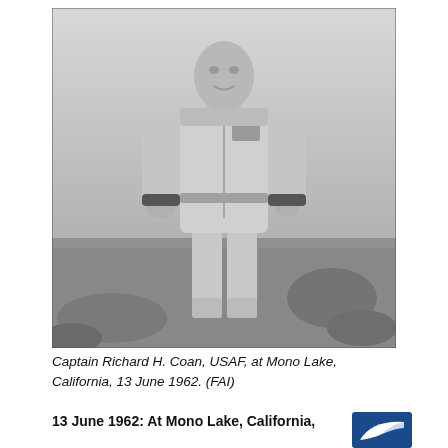[Figure (photo): Black and white photograph of Captain Richard H. Coan, USAF, standing outdoors in a flight suit/pressure suit at Mono Lake, California. He is facing the camera with hands at his sides, wearing a full-length jumpsuit with patches and buckles visible. Natural vegetation visible in the background.]
Captain Richard H. Coan, USAF, at Mono Lake, California, 13 June 1962. (FAI)
13 June 1962: At Mono Lake, California,